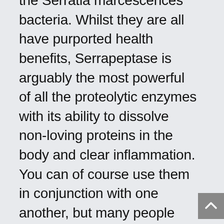the Serratia marcescences bacteria. Whilst they are all have purported health benefits, Serrapeptase is arguably the most powerful of all the proteolytic enzymes with its ability to dissolve non-loving proteins in the body and clear inflammation. You can of course use them in conjunction with one another, but many people find the benefits of serrapeptase to be enough on its own.